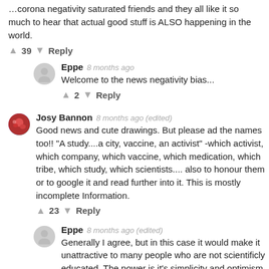…corona negativity saturated friends and they all like it so much to hear that actual good stuff is ALSO happening in the world.
↑ 39 ↓ Reply
Eppe 8 months ago — Welcome to the news negativity bias...
↑ 2 ↓ Reply
Josy Bannon 8 months ago (edited) — Good news and cute drawings. But please ad the names too!! "A study....a city, vaccine, an activist" -which activist, which company, which vaccine, which medication, which tribe, which study, which scientists.... also to honour them or to google it and read further into it. This is mostly incomplete Information.
↑ 23 ↓ Reply
Eppe 8 months ago (edited) — Generally I agree, but in this case it would make it unattractive to many people who are not scientificly educated. The power is it's simplicity and optimism. Trust the author has done his research and enjoy. If you really want sources you should be able to find it on your own.
↑ 3 ↓ Reply
Load More Replies...